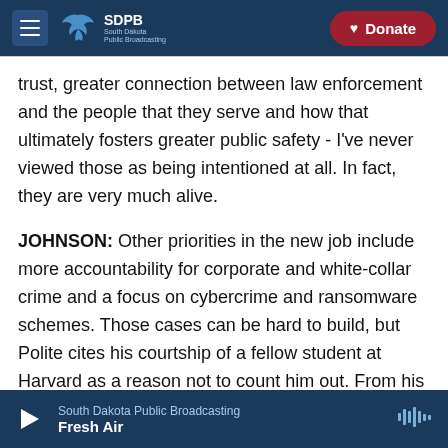SDPB South Dakota Public Broadcasting | Donate
trust, greater connection between law enforcement and the people that they serve and how that ultimately fosters greater public safety - I've never viewed those as being intentioned at all. In fact, they are very much alive.
JOHNSON: Other priorities in the new job include more accountability for corporate and white-collar crime and a focus on cybercrime and ransomware schemes. Those cases can be hard to build, but Polite cites his courtship of a fellow student at Harvard as a reason not to count him out. From his first day of school in Cambridge, Polite says he
South Dakota Public Broadcasting | Fresh Air